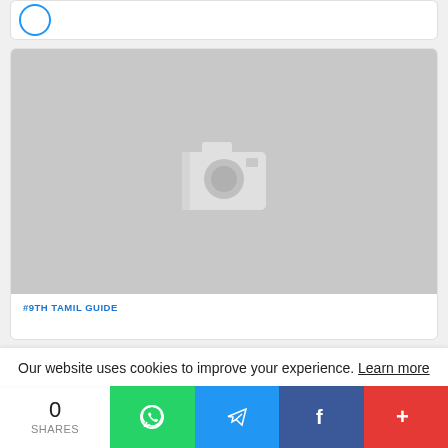[Figure (other): Partial top card with blue circle icon]
[Figure (photo): Gray placeholder image with white camera icon in center]
#9TH TAMIL GUIDE
Our website uses cookies to improve your experience. Learn more
0 SHARES
[Figure (infographic): Social share bar with WhatsApp, Telegram, Facebook and More buttons]